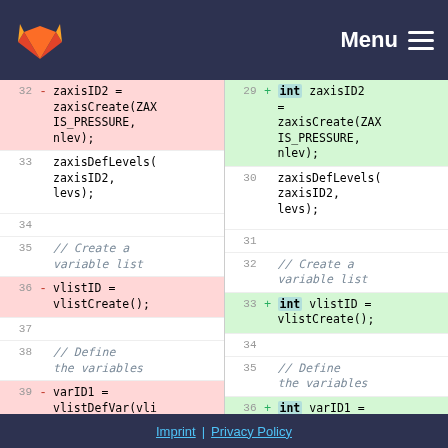Menu
| old line | sign | old code | new line | sign | new code |
| --- | --- | --- | --- | --- | --- |
| 32 | - | zaxisID2 = zaxisCreate(ZAXIS_PRESSURE, nlev); | 29 | + | int zaxisID2 = zaxisCreate(ZAXIS_PRESSURE, nlev); |
| 33 |  | zaxisDefLevels(zaxisID2, levs); | 30 |  | zaxisDefLevels(zaxisID2, levs); |
| 34 |  |  | 31 |  |  |
| 35 |  | // Create a variable list | 32 |  | // Create a variable list |
| 36 | - | vlistID = vlistCreate(); | 33 | + | int vlistID = vlistCreate(); |
| 37 |  |  | 34 |  |  |
| 38 |  | // Define the variables | 35 |  | // Define the variables |
| 39 | - | varID1 = vlistDefVar(vli | 36 | + | int varID1 = vlistDefVar(vli |
Imprint | Privacy Policy